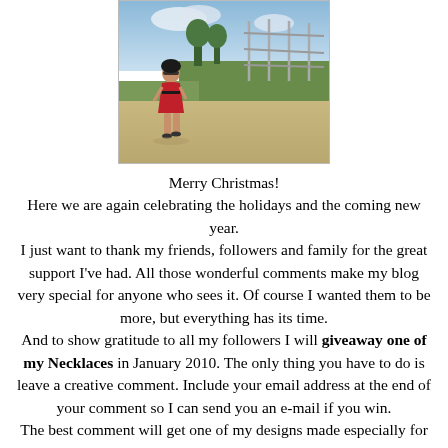[Figure (photo): Woman in red dress standing outdoors near metal railings/fences, with green grass and sandy ground visible. Cloudy sky in background.]
Merry Christmas!
Here we are again celebrating the holidays and the coming new year.
I just want to thank my friends, followers and family for the great support I've had. All those wonderful comments make my blog very special for anyone who sees it. Of course I wanted them to be more, but everything has its time.
And to show gratitude to all my followers I will giveaway one of my Necklaces in January 2010. The only thing you have to do is leave a creative comment. Include your email address at the end of your comment so I can send you an e-mail if you win.
The best comment will get one of my designs made especially for